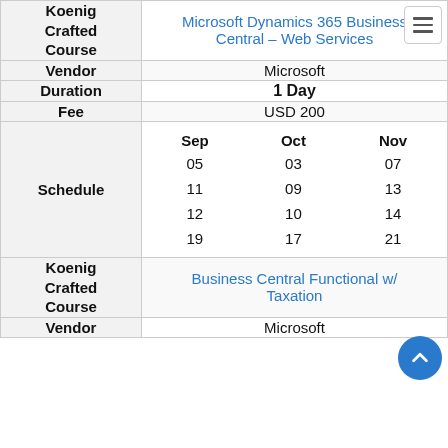| Label | Value |
| --- | --- |
| Koenig Crafted Course | Microsoft Dynamics 365 Business Central – Web Services |
| Vendor | Microsoft |
| Duration | 1 Day |
| Fee | USD 200 |
| Schedule | Sep 05 11 12 19 | Oct 03 09 10 17 | Nov 07 13 14 21 |
| Koenig Crafted Course | Business Central Functional w/ Taxation |
| Vendor | Microsoft |